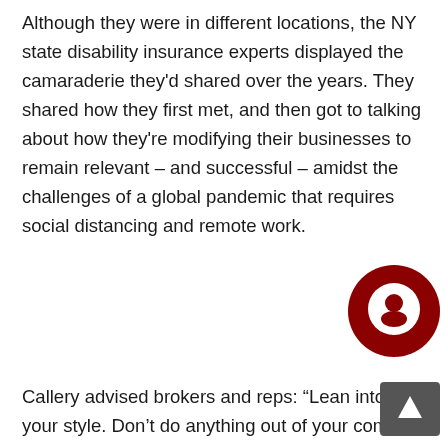Although they were in different locations, the NY state disability insurance experts displayed the camaraderie they'd shared over the years. They shared how they first met, and then got to talking about how they're modifying their businesses to remain relevant – and successful – amidst the challenges of a global pandemic that requires social distancing and remote work.
[Figure (illustration): Dark red circular chat/comment icon with a white speech bubble symbol inside]
Callery advised brokers and reps: “Lean into your style. Don’t do anything out of your comfort level. Don’t force it.”
Lincoln Financial began developing podcasts and increasing their social media presence, but Callery also encouraged reps to find what
[Figure (other): Dark grey scroll-to-top button with an upward-pointing arrow]